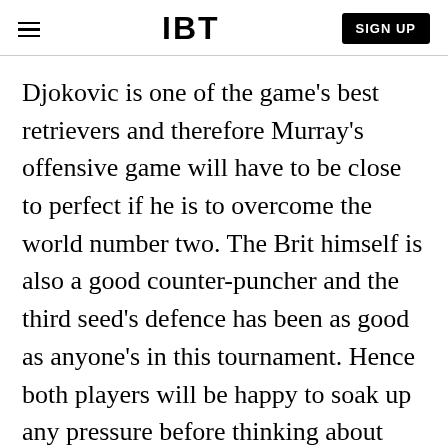IBT | SIGN UP
Djokovic is one of the game's best retrievers and therefore Murray's offensive game will have to be close to perfect if he is to overcome the world number two. The Brit himself is also a good counter-puncher and the third seed's defence has been as good as anyone's in this tournament. Hence both players will be happy to soak up any pressure before thinking about putting a winner past the opponent.